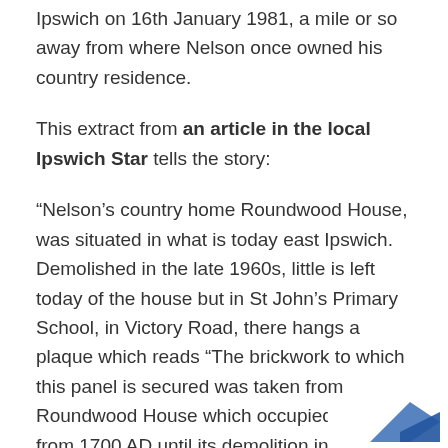Ipswich on 16th January 1981, a mile or so away from where Nelson once owned his country residence.
This extract from an article in the local Ipswich Star tells the story:
“Nelson’s country home Roundwood House, was situated in what is today east Ipswich. Demolished in the late 1960s, little is left today of the house but in St John’s Primary School, in Victory Road, there hangs a plaque which reads “The brickwork to which this panel is secured was taken from Roundwood House which occupied this site from 1700 AD until its demolition in 1967. It was owned by Vice Admiral Horatio Nelson from 1795 to 1801.”